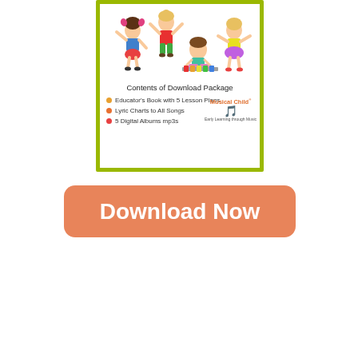[Figure (illustration): Educational product card with yellow-green border showing cartoon children illustration at top, title 'Contents of Download Package', three bullet points listing: Educator's Book with 5 Lesson Plans, Lyric Charts to All Songs, 5 Digital Albums mp3s, with Musical Child logo]
Download Now